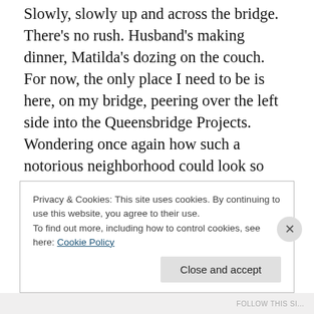Slowly, slowly up and across the bridge. There's no rush. Husband's making dinner, Matilda's dozing on the couch. For now, the only place I need to be is here, on my bridge, peering over the left side into the Queensbridge Projects. Wondering once again how such a notorious neighborhood could look so pleasant from up here. Along its southern edge there is a broad path symmetrically hemmed with elm trees. In the winter those trees sparkle with ice and snow and in the summer they stand lushly green; is it possible drug dealers and other dangerous types could be soothed into good behavior by this artful
Privacy & Cookies: This site uses cookies. By continuing to use this website, you agree to their use.
To find out more, including how to control cookies, see here: Cookie Policy